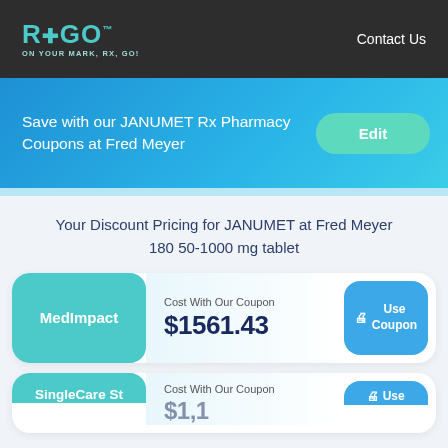RxGo — ON YOUR MARK, RX, GO! | Contact Us
Save with our JANUMET Rx Pharmacy Coupons at Fred Meyer
Your Discount Pricing for JANUMET at Fred Meyer 180 50-1000 mg tablet
MedImpact — Cost With Our Coupon: $1561.43 — Use Coupon
SingleCare St — Cost With Our Coupon — Use